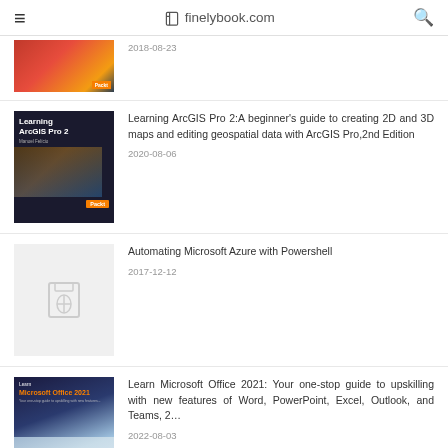finelybook.com
[Figure (photo): Partial book cover (top clipped) with Packt branding, date 2018-08-23]
2018-08-23
[Figure (photo): Book cover: Learning ArcGIS Pro 2, dark background with orange and map imagery, Packt publisher]
Learning ArcGIS Pro 2:A beginner's guide to creating 2D and 3D maps and editing geospatial data with ArcGIS Pro,2nd Edition
2020-08-06
[Figure (photo): Placeholder book cover with hourglass icon on light gray background]
Automating Microsoft Azure with Powershell
2017-12-12
[Figure (photo): Book cover: Learn Microsoft Office 2021, dark blue and light blue gradient with stacked books image]
Learn Microsoft Office 2021: Your one-stop guide to upskilling with new features of Word, PowerPoint, Excel, Outlook, and Teams, 2…
2022-08-03